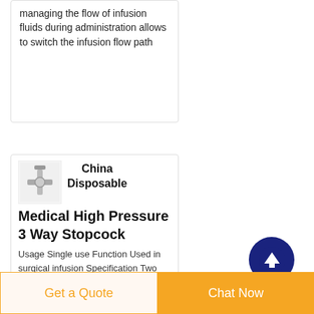managing the flow of infusion fluids during administration allows to switch the infusion flow path
[Figure (photo): Small product photo of a disposable medical stopcock]
China Disposable Medical High Pressure 3 Way Stopcock
Usage Single use Function Used in surgical infusion Specification Two way stopcock three way stopcock three way stopcock with extension tube the length of tube could be as customer
Get a Quote
Chat Now